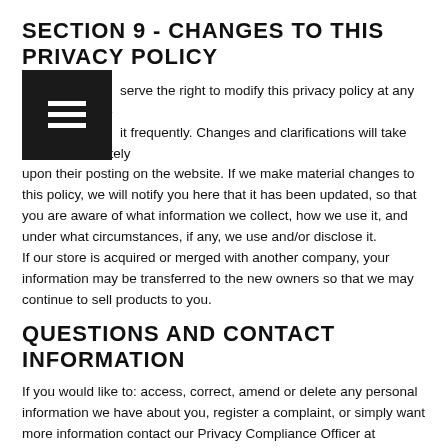SECTION 9 - CHANGES TO THIS PRIVACY POLICY
We reserve the right to modify this privacy policy at any time, so please review it frequently. Changes and clarifications will take effect immediately upon their posting on the website. If we make material changes to this policy, we will notify you here that it has been updated, so that you are aware of what information we collect, how we use it, and under what circumstances, if any, we use and/or disclose it.
If our store is acquired or merged with another company, your information may be transferred to the new owners so that we may continue to sell products to you.
QUESTIONS AND CONTACT INFORMATION
If you would like to: access, correct, amend or delete any personal information we have about you, register a complaint, or simply want more information contact our Privacy Compliance Officer at info@borntoloveclothing.com or by mail at
Born To Love Clothing
[Re: Privacy Compliance Officer]
PO box 3822
San Louis Obispo CA 93403